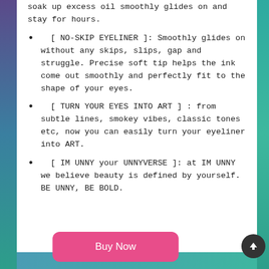soak up excess oil smoothly glides on and stay for hours.
[ NO-SKIP EYELINER ]: Smoothly glides on without any skips, slips, gap and struggle. Precise soft tip helps the ink come out smoothly and perfectly fit to the shape of your eyes.
[ TURN YOUR EYES INTO ART ]: from subtle lines, smokey vibes, classic tones etc, now you can easily turn your eyeliner into ART.
[ IM UNNY your UNNYVERSE ]: at IM UNNY we believe beauty is defined by yourself. BE UNNY, BE BOLD.